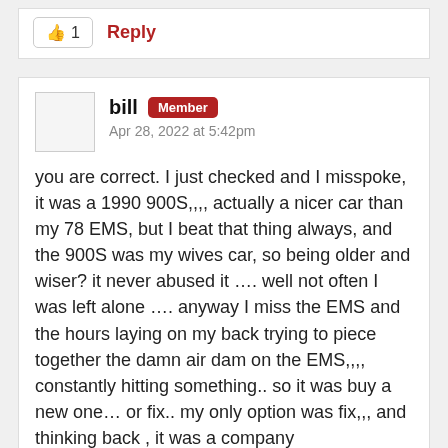👍 1   Reply
bill Member
Apr 28, 2022 at 5:42pm
you are correct. I just checked and I misspoke, it was a 1990 900S,,,, actually a nicer car than my 78 EMS, but I beat that thing always, and the 900S was my wives car, so being older and wiser? it never abused it …. well not often I was left alone …. anyway I miss the EMS and the hours laying on my back trying to piece together the damn air dam on the EMS,,,, constantly hitting something.. so it was buy a new one… or fix.. my only option was fix,,, and thinking back , it was a company